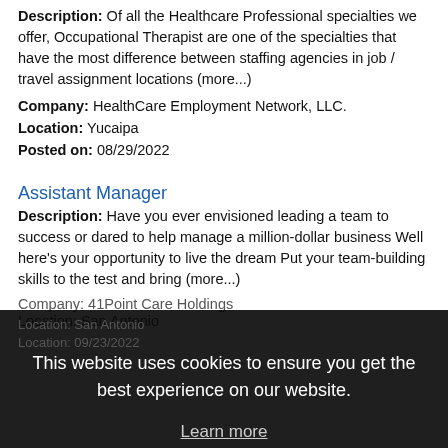Description: Of all the Healthcare Professional specialties we offer, Occupational Therapist are one of the specialties that have the most difference between staffing agencies in job / travel assignment locations (more...)
Company: HealthCare Employment Network, LLC.
Location: Yucaipa
Posted on: 08/29/2022
Assistant Manager
Description: Have you ever envisioned leading a team to success or dared to help manage a million-dollar business Well here's your opportunity to live the dream Put your team-building skills to the test and bring (more...)
Company: 41Point Care Holdings
Location: San Antonio
This website uses cookies to ensure you get the best experience on our website.
Learn more
Log In or Create An Account
Got it!